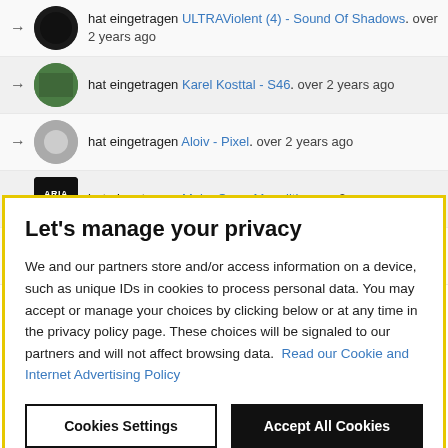hat eingetragen ULTRAViolent (4) - Sound Of Shadows. over 2 years ago
hat eingetragen Karel Kosttal - S46. over 2 years ago
hat eingetragen Aloiv - Pixel. over 2 years ago
hat eingetragen Make One - Monolith. over 2 years ago
hat eingetragen Gareth 2Dark & Latex Zebra - Venom.
Let's manage your privacy
We and our partners store and/or access information on a device, such as unique IDs in cookies to process personal data. You may accept or manage your choices by clicking below or at any time in the privacy policy page. These choices will be signaled to our partners and will not affect browsing data. Read our Cookie and Internet Advertising Policy
Cookies Settings
Accept All Cookies